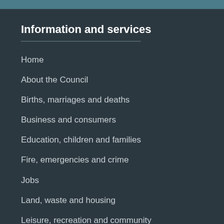Information and services
Home
About the Council
Births, marriages and deaths
Business and consumers
Education, children and families
Fire, emergencies and crime
Jobs
Land, waste and housing
Leisure, recreation and community